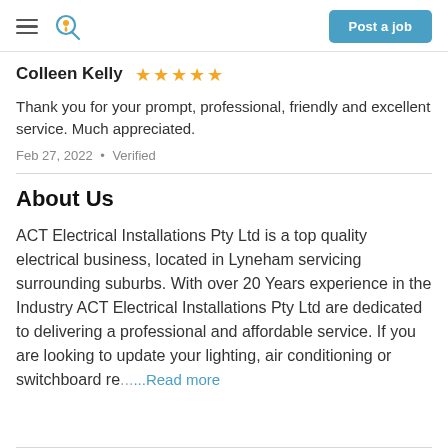Post a job
Colleen Kelly ★★★★★
Thank you for your prompt, professional, friendly and excellent service. Much appreciated.
Feb 27, 2022 • Verified
About Us
ACT Electrical Installations Pty Ltd is a top quality electrical business, located in Lyneham servicing surrounding suburbs. With over 20 Years experience in the Industry ACT Electrical Installations Pty Ltd are dedicated to delivering a professional and affordable service. If you are looking to update your lighting, air conditioning or switchboard re... Read more